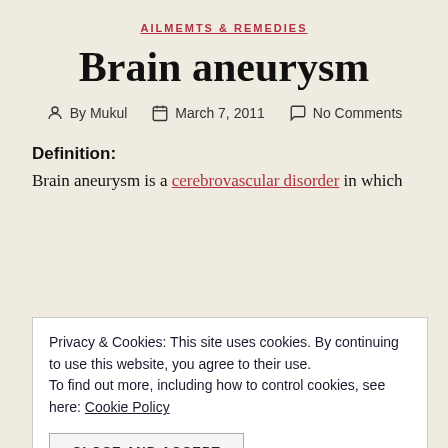AILMEMTS & REMEDIES
Brain aneurysm
By Mukul   March 7, 2011   No Comments
Definition:
Brain aneurysm is a cerebrovascular disorder in which
Privacy & Cookies: This site uses cookies. By continuing to use this website, you agree to their use.
To find out more, including how to control cookies, see here: Cookie Policy

CLOSE AND ACCEPT
cent of cases there are multiple aneurysms on different